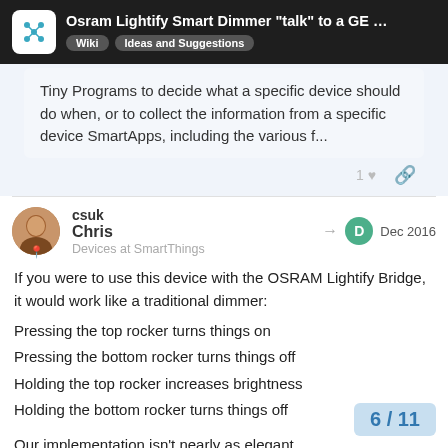Osram Lightify Smart Dimmer "talk" to a GE … | Wiki | Ideas and Suggestions
Tiny Programs to decide what a specific device should do when, or to collect the information from a specific device SmartApps, including the various f...
csuk Chris Devices at SmartThings Dec 2016
If you were to use this device with the OSRAM Lightify Bridge, it would work like a traditional dimmer:
Pressing the top rocker turns things on
Pressing the bottom rocker turns things off
Holding the top rocker increases brightness
Holding the bottom rocker turns things off
Our implementation isn't nearly as elegant
6 / 11